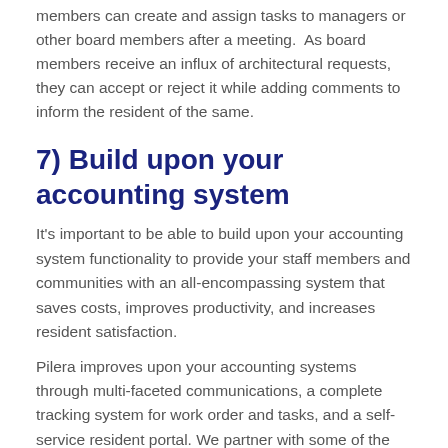members can create and assign tasks to managers or other board members after a meeting.  As board members receive an influx of architectural requests, they can accept or reject it while adding comments to inform the resident of the same.
7) Build upon your accounting system
It's important to be able to build upon your accounting system functionality to provide your staff members and communities with an all-encompassing system that saves costs, improves productivity, and increases resident satisfaction.
Pilera improves upon your accounting systems through multi-faceted communications, a complete tracking system for work order and tasks, and a self-service resident portal. We partner with some of the best...